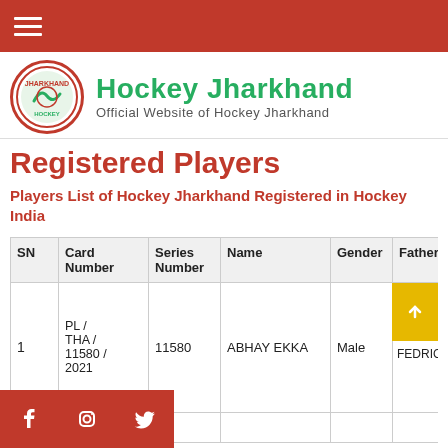Hockey Jharkhand — Official Website of Hockey Jharkhand
Registered Players
Players List of Hockey Jharkhand Registered in Hockey India
| SN | Card Number | Series Number | Name | Gender | Father |
| --- | --- | --- | --- | --- | --- |
| 1 | PL / THA / 11580 / 2021 | 11580 | ABHAY EKKA | Male | FEDRIC |
|  | PL / |  |  |  |  |